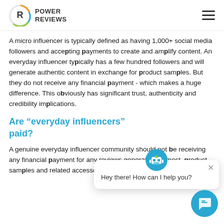POWER REVIEWS
A micro influencer is typically defined as having 1,000+ social media followers and accepting payments to create and amplify content. An everyday influencer typically has a few hundred followers and will generate authentic content in exchange for product samples. But they do not receive any financial payment - which makes a huge difference. This obviously has significant trust, authenticity and credibility implications.
Are “everyday influencers” paid?
A genuine everyday influencer community should not be receiving any financial payment for any reviews generated. At most, product samples and related accessories